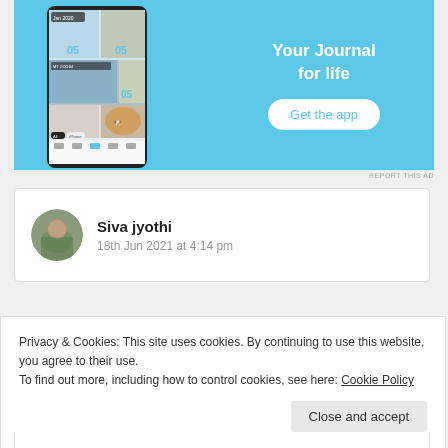[Figure (screenshot): App advertisement banner with blue background, phone screenshot on left, 'Your Journal for life' text and 'Get the app' button on right]
REPORT THIS AD
[Figure (photo): Circular avatar photo of Siva jyothi]
Siva jyothi
18th Jun 2021 at 4:14 pm
Privacy & Cookies: This site uses cookies. By continuing to use this website, you agree to their use.
To find out more, including how to control cookies, see here: Cookie Policy
Close and accept